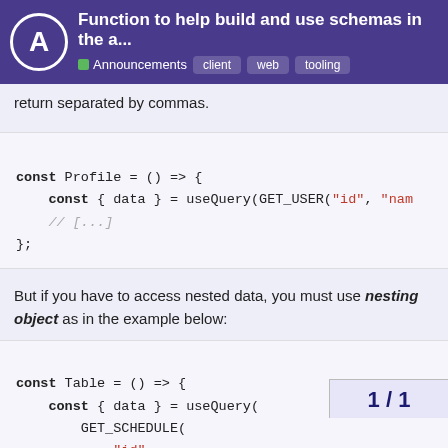Function to help build and use schemas in the a... | Announcements client web tooling
return separated by commas.
[Figure (screenshot): Code block showing: const Profile = () => { const { data } = useQuery(GET_USER("id", "nam... // [...] };]
But if you have to access nested data, you must use nesting object as in the example below:
[Figure (screenshot): Code block showing: const Table = () => { const { data } = useQuery( GET_SCHEDULE( "id", // object usage { name: "createdBy", items: ["_id", "name... { name: "service", items: ["_id", "durati... "date", "status"]